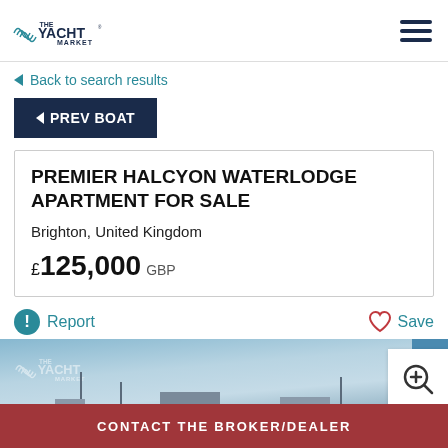The Yacht Market
Back to search results
PREV BOAT
PREMIER HALCYON WATERLODGE APARTMENT FOR SALE
Brighton, United Kingdom
£125,000 GBP
Report
Save
[Figure (photo): Exterior photo of the waterlodge/marina property with blue sky, showing The Yacht Market watermark overlay and zoom icon]
CONTACT THE BROKER/DEALER